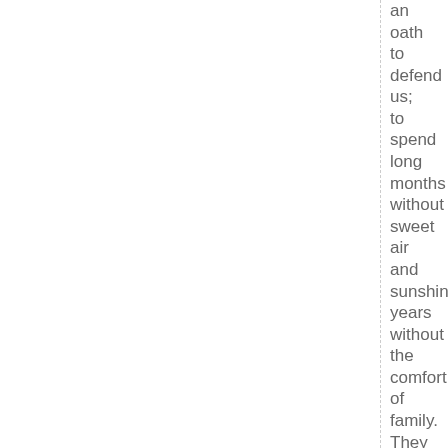an oath to defend us; to spend long months without sweet air and sunshine, years without the comfort of family. They took to space to